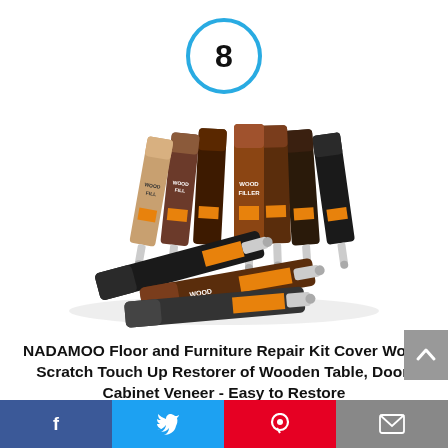[Figure (other): Number 8 inside a light blue circle, ranking badge]
[Figure (photo): Multiple tubes of NADAMOO Wood Filler product arranged in a fan/display pattern, showing various wood-tone colors]
NADAMOO Floor and Furniture Repair Kit Cover Wood Scratch Touch Up Restorer of Wooden Table, Door, Cabinet Veneer - Easy to Restore